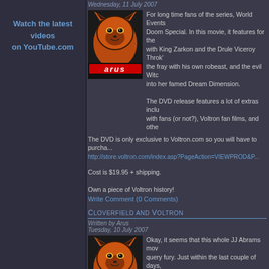Wednesday, 11 July 2007
For long time fans of the series, World Events Productions is releasing a DVD of the Doom Special. In this movie, it features for the first time, a battle with King Zarkon and the Drule Viceroy Throk. Lotor also enters the fray with his own robeast, and the evil Witch Haggar draws Voltron into her famed Dream Dimension.

The DVD release features a lot of extras including an audio commentary with fans (or not?), Voltron fan films, and other extras.
The DVD is only exclusive to Voltron.com so you will have to purcha...
http://store.voltron.com/index.asp?PageAction=VIEWPROD&P...
Cost is $19.95 + shipping.
Own a piece of Voltron history!
Write Comment (0 Comments)
Cloverfield and Voltron
Written by Arus
Tuesday, 10 July 2007
Okay, it seems that this whole JJ Abrams movie has generated some query fury. Just within the last couple of days, there has been news about the short trailer that appeared before Transformers...
First and foremost however, I reported in an earlier article that the trailer was thought to be something for Voltron, but I... Im seeing from replies to my article on other forum sites , that many... Voltron Movie.
[Figure (illustration): Arus character icon - orange/red cartoon fox-like character face with 'arus' logo text in red and white at bottom, dark background]
[Figure (illustration): Arus character icon - same orange/red cartoon fox-like character with 'arus' logo text, used as second post avatar]